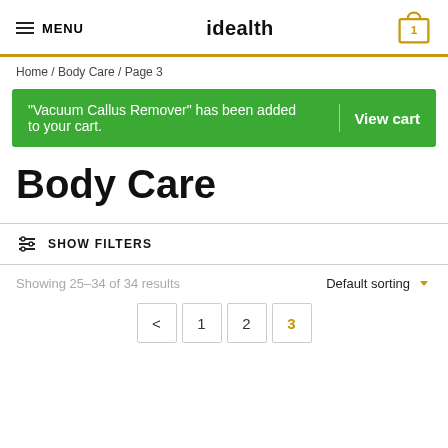MENU | idealth | cart: 1
Home / Body Care / Page 3
“Vacuum Callus Remover” has been added to your cart. | View cart
Body Care
SHOW FILTERS
Showing 25–34 of 34 results
Default sorting
< 1 2 3